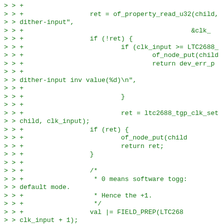Code diff showing ltc2688 driver changes including of_property_read_u32, dither-input, LTC2688 clock input validation, ltc2688_tgp_clk_set, FIELD_PREP(LTC268x) and TGPx dither channel handling